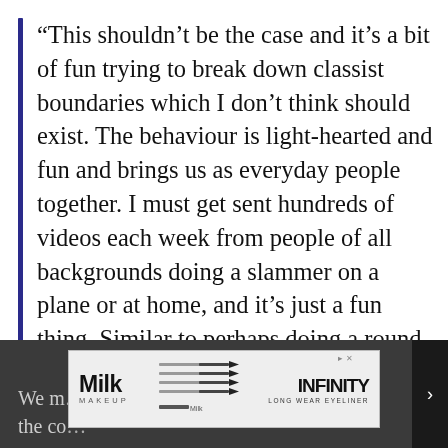“This shouldn’t be the case and it’s a bit of fun trying to break down classist boundaries which I don’t think should exist. The behaviour is light-hearted and fun and brings us as everyday people together. I must get sent hundreds of videos each week from people of all backgrounds doing a slammer on a plane or at home, and it’s just a fun thing. Similar to perhaps doing a round of shots on a night out.”
We m…se in the co…